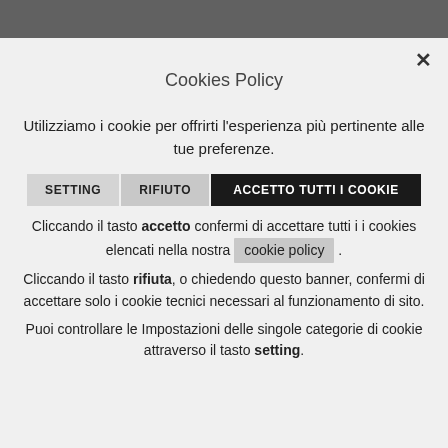Cookies Policy
Utilizziamo i cookie per offrirti l'esperienza più pertinente alle tue preferenze.
SETTING   RIFIUTO   ACCETTO TUTTI I COOKIE
Cliccando il tasto accetto confermi di accettare tutti i i cookies elencati nella nostra cookie policy .
Cliccando il tasto rifiuta, o chiedendo questo banner, confermi di accettare solo i cookie tecnici necessari al funzionamento di sito.
Puoi controllare le Impostazioni delle singole categorie di cookie attraverso il tasto setting.